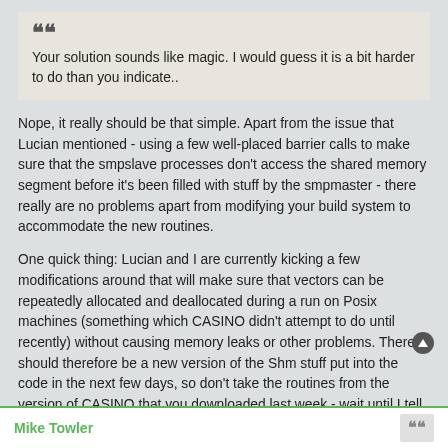Your solution sounds like magic. I would guess it is a bit harder to do than you indicate..
Nope, it really should be that simple. Apart from the issue that Lucian mentioned - using a few well-placed barrier calls to make sure that the smpslave processes don't access the shared memory segment before it's been filled with stuff by the smpmaster - there really are no problems apart from modifying your build system to accommodate the new routines.
One quick thing: Lucian and I are currently kicking a few modifications around that will make sure that vectors can be repeatedly allocated and deallocated during a run on Posix machines (something which CASINO didn't attempt to do until recently) without causing memory leaks or other problems. There should therefore be a new version of the Shm stuff put into the code in the next few days, so don't take the routines from the version of CASINO that you downloaded last week - wait until I tell you, which should be very soon.
M.
Mike Towler